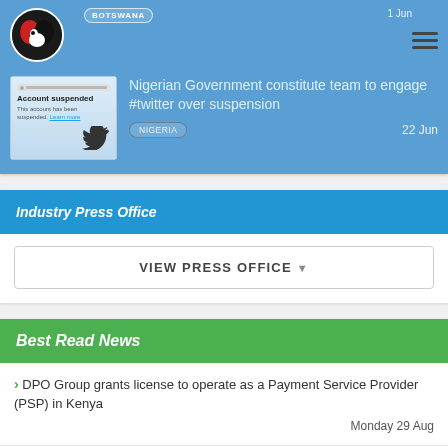[Figure (screenshot): News card with blue background showing Account Suspended Twitter screenshot thumbnail and Nigerian Government news item]
BOTSWANA
1 Jun
Nigerian Government constitute team to engage #twitter over suspension
NIGERIA
22 Jun
Industry Press Office
VIEW PRESS OFFICE
Best Read News
DPO Group grants license to operate as a Payment Service Provider (PSP) in Kenya
Monday 29 Aug
MTN Group appoints Marvin Ncube:Business Finance